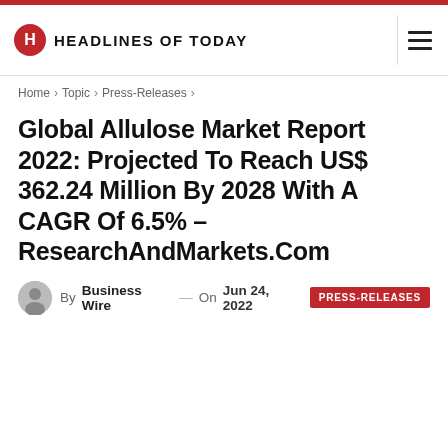HEADLINES OF TODAY
Home › Topic › Press-Releases ›
Global Allulose Market Report 2022: Projected To Reach US$ 362.24 Million By 2028 With A CAGR Of 6.5% – ResearchAndMarkets.Com
By Business Wire — On Jun 24, 2022  PRESS-RELEASES